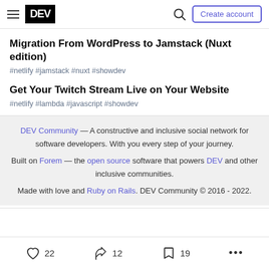DEV — navigation bar with hamburger menu, DEV logo, search icon, Create account button
Migration From WordPress to Jamstack (Nuxt edition)
#netlify #jamstack #nuxt #showdev
Get Your Twitch Stream Live on Your Website
#netlify #lambda #javascript #showdev
DEV Community — A constructive and inclusive social network for software developers. With you every step of your journey. Built on Forem — the open source software that powers DEV and other inclusive communities. Made with love and Ruby on Rails. DEV Community © 2016 - 2022.
22 likes, 12 reactions, 19 bookmarks, more options